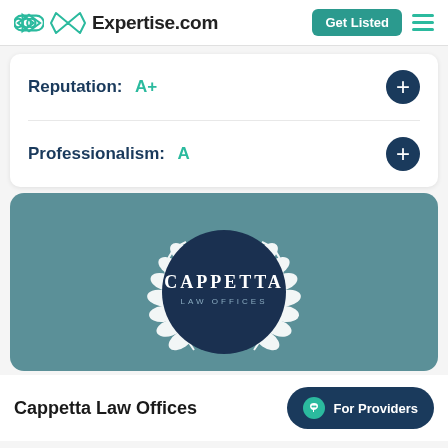Expertise.com
Reputation: A+
Professionalism: A
[Figure (logo): Cappetta Law Offices logo: dark blue circle with laurel wreath and text CAPPETTA LAW OFFICES on teal background]
Cappetta Law Offices